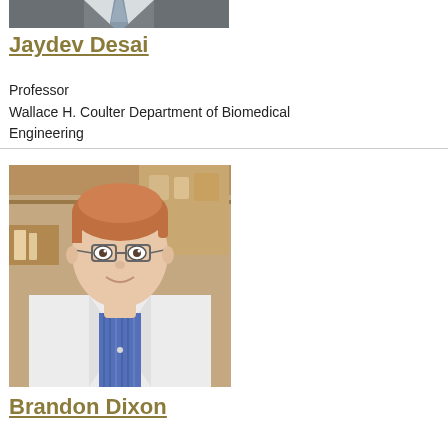[Figure (photo): Partial photo of Jaydev Desai in suit and tie, cropped at top of page]
Jaydev Desai
Professor
Wallace H. Coulter Department of Biomedical Engineering
[Figure (photo): Photo of Brandon Dixon, a young man with reddish hair and glasses wearing a white lab coat over a blue striped shirt, standing in a laboratory setting]
Brandon Dixon